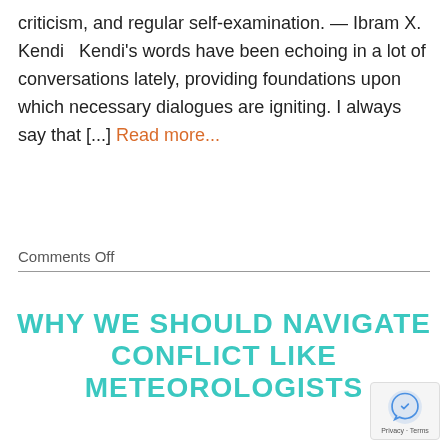criticism, and regular self-examination. — Ibram X. Kendi   Kendi's words have been echoing in a lot of conversations lately, providing foundations upon which necessary dialogues are igniting. I always say that [...] Read more...
Comments Off
WHY WE SHOULD NAVIGATE CONFLICT LIKE METEOROLOGISTS